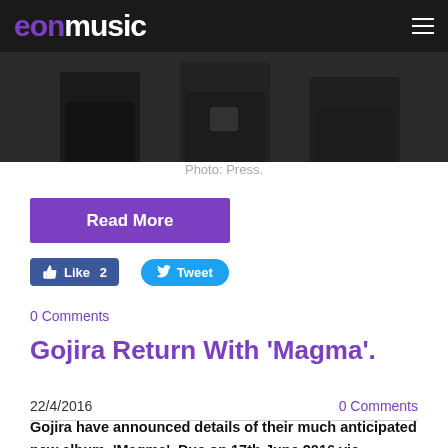eonmusic
[Figure (photo): Dark photo strip showing band members in dark clothing, partially cropped at top of page]
Photo: Press.
Read More
Like 2   Tweet
0 Comments
Gojira Return With 'Magma'.
22/4/2016   0 Comments
Gojira have announced details of their much anticipated new album, 'Magma'. Due on 17th June 2016 via Roadrunner Records, the disc is the follow up to 2012's